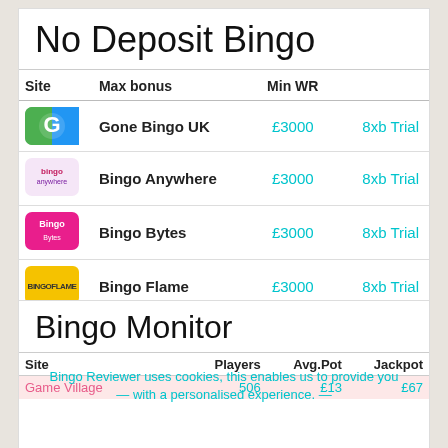No Deposit Bingo
| Site | Max bonus | Min WR |  |
| --- | --- | --- | --- |
| Gone Bingo UK |  | £3000 | 8xb Trial |
| Bingo Anywhere |  | £3000 | 8xb Trial |
| Bingo Bytes |  | £3000 | 8xb Trial |
| Bingo Flame |  | £3000 | 8xb Trial |
| BingoG |  | £3000 | 8xb Trial |
Bingo Monitor
Bingo Reviewer uses cookies, this enables us to provide you with a personalised experience.
| Site | Players | Avg.Pot | Jackpot |
| --- | --- | --- | --- |
| Game Village | 506 | £13 | £67 |